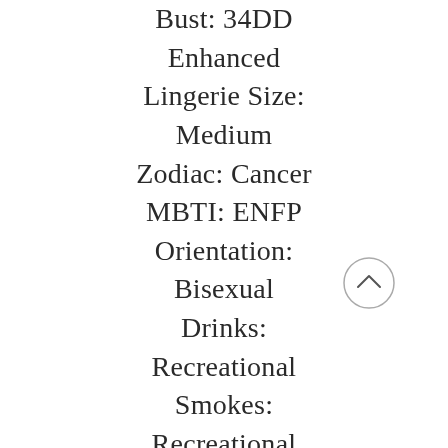Bust: 34DD Enhanced
Lingerie Size: Medium
Zodiac: Cancer
MBTI: ENFP
Orientation: Bisexual
Drinks: Recreational
Smokes: Recreational